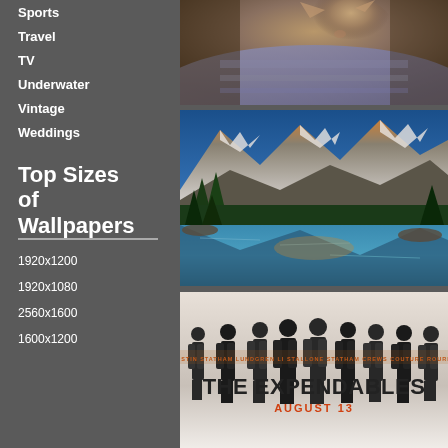Sports 905
Travel 341
TV 202
Underwater 86
Vintage 85
Weddings 69
Top Sizes of Wallpapers
1920x1200 9521
1920x1080 8117
2560x1600 3543
1600x1200 2704
[Figure (photo): Close-up photo of a cat wrapped in a blanket/cloth]
[Figure (photo): Landscape photo of mountain lake with reflections, possibly Moraine Lake, Banff]
[Figure (photo): Movie poster for The Expendables - August 13]